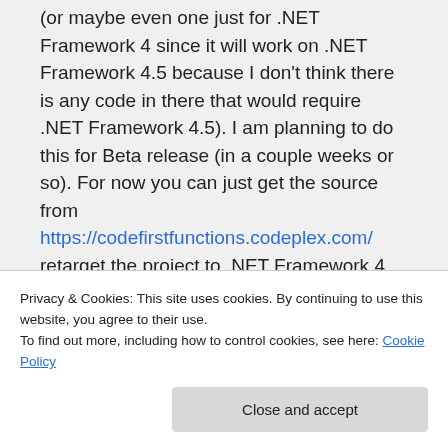(or maybe even one just for .NET Framework 4 since it will work on .NET Framework 4.5 because I don't think there is any code in there that would require .NET Framework 4.5). I am planning to do this for Beta release (in a couple weeks or so). For now you can just get the source from https://codefirstfunctions.codeplex.com/ retarget the project to .NET Framework 4 and build your private version.
Privacy & Cookies: This site uses cookies. By continuing to use this website, you agree to their use. To find out more, including how to control cookies, see here: Cookie Policy